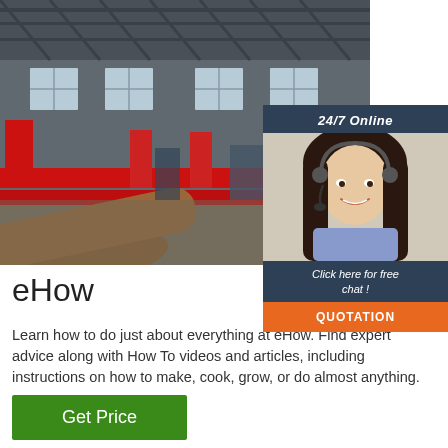[Figure (photo): Industrial factory floor with red machinery, pipe bending equipment, and manufacturing tools]
[Figure (photo): Chat widget overlay: 24/7 Online support with woman wearing headset, Click here for free chat, QUOTATION button]
eHow
Learn how to do just about everything at eHow. Find expert advice along with How To videos and articles, including instructions on how to make, cook, grow, or do almost anything.
[Figure (other): Get Price green button]